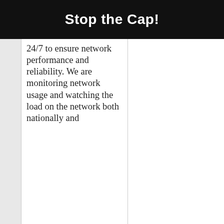Stop the Cap!
24/7 to ensure network performance and reliability. We are monitoring network usage and watching the load on the network both nationally and